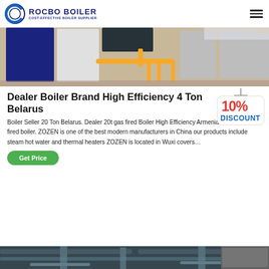ROCBO BOILER - COST-EFFECTIVE BOILER SUPPLIER
[Figure (photo): Industrial boilers in a row with yellow pipes and supports on a light floor]
Dealer Boiler Brand High Efficiency 4 Ton Belarus
[Figure (illustration): 10% DISCOUNT badge/sign with red and blue text on white background with hanging rope]
Boiler Seller 20 Ton Belarus. Dealer 20t gas fired Boiler High Efficiency Armenia ZOZEN coal fired boiler. ZOZEN is one of the best modern manufacturers in China our products include steam hot water and thermal heaters ZOZEN is located in Wuxi covers…
Get Price
[Figure (photo): Bottom of page showing industrial boiler/pipe equipment from below]